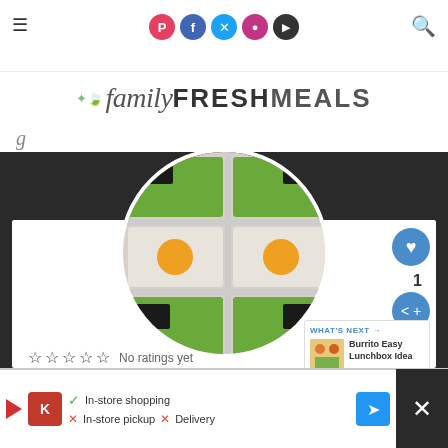familyFRESHMEALS — navigation header with social icons and search
[Figure (logo): familyFRESHMEALS logo with leaf icon and mixed serif/sans typography]
[Figure (photo): Circular cropped photo of meal prep containers with edamame, rice, oranges, and soy sauce arranged in a bento-style grid]
☆☆☆☆☆ No ratings yet
EDAMAME EASY
1 (heart count)
WHAT'S NEXT → Burrito Easy Lunchbox Idea
In-store shopping  In-store pickup  Delivery — advertisement banner